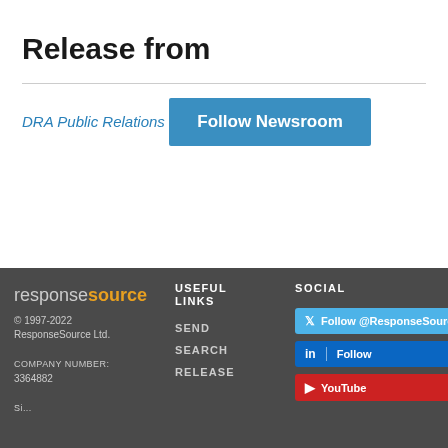Release from
DRA Public Relations
Follow Newsroom
responsesource USEFUL LINKS SOCIAL © 1997-2022 ResponseSource Ltd. COMPANY NUMBER: 3364882 SEND SEARCH RELEASE Follow @ResponseSource Follow YouTube